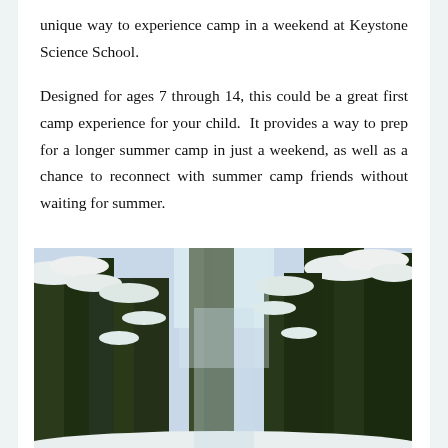unique way to experience camp in a weekend at Keystone Science School.
Designed for ages 7 through 14, this could be a great first camp experience for your child.  It provides a way to prep for a longer summer camp in just a weekend, as well as a chance to reconnect with summer camp friends without waiting for summer.
[Figure (photo): A snow-covered conifer forest with tall evergreen trees laden with snow, photographed looking upward through the trees toward a bright sky.]